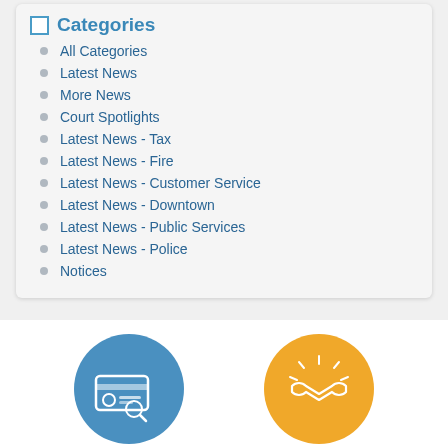Categories
All Categories
Latest News
More News
Court Spotlights
Latest News - Tax
Latest News - Fire
Latest News - Customer Service
Latest News - Downtown
Latest News - Public Services
Latest News - Police
Notices
[Figure (illustration): Two circular icons at bottom: a blue circle with a card/ID icon, and a yellow/orange circle with a handshake icon.]